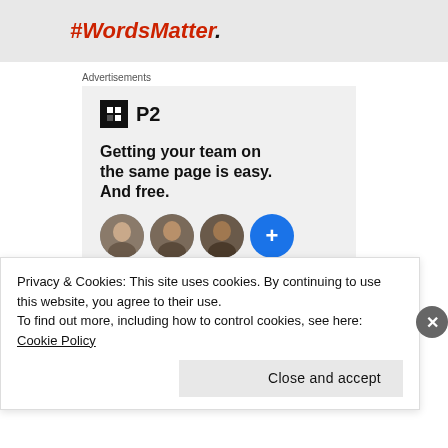#WordsMatter.
Advertisements
[Figure (other): P2 advertisement: logo with black square icon and 'P2' text, headline 'Getting your team on the same page is easy. And free.', with circular avatar photos and a blue plus button below.]
Privacy & Cookies: This site uses cookies. By continuing to use this website, you agree to their use.
To find out more, including how to control cookies, see here: Cookie Policy
Close and accept